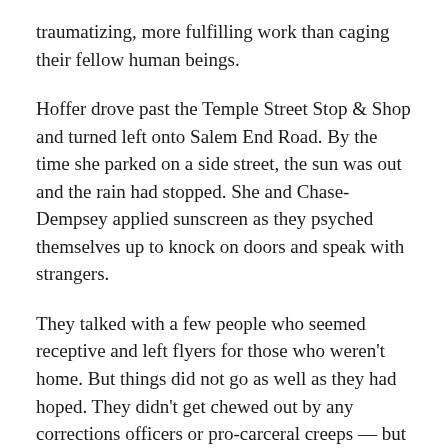traumatizing, more fulfilling work than caging their fellow human beings.
Hoffer drove past the Temple Street Stop & Shop and turned left onto Salem End Road. By the time she parked on a side street, the sun was out and the rain had stopped. She and Chase-Dempsey applied sunscreen as they psyched themselves up to knock on doors and speak with strangers.
They talked with a few people who seemed receptive and left flyers for those who weren't home. But things did not go as well as they had hoped. They didn't get chewed out by any corrections officers or pro-carceral creeps — but the weather did not cooperate.
Soon after they started, it began raining again. Then it began to pour. They heard thunder directly above them.